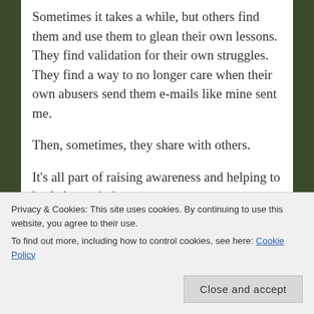Sometimes it takes a while, but others find them and use them to glean their own lessons.  They find validation for their own struggles.  They find a way to no longer care when their own abusers send them e-mails like mine sent me.
Then, sometimes, they share with others.
It's all part of raising awareness and helping to heal abuse victims.
[Update 4/5/15:]  Also, the more I see people
Privacy & Cookies: This site uses cookies. By continuing to use this website, you agree to their use.
To find out more, including how to control cookies, see here: Cookie Policy